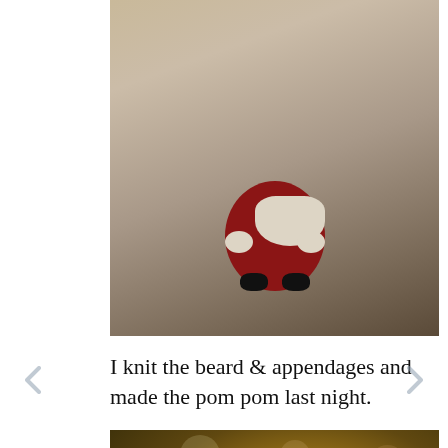[Figure (photo): Close-up photo of a small knitted Santa Claus figure with a red body, cream/off-white beard and arm details, and black feet, sitting on a light beige/neutral surface.]
I knit the beard & appendages and made the pom pom last night.
[Figure (photo): Close-up photo of a knitted Santa hat with red and cream/off-white stripes and a pom pom on top, photographed against a bokeh background of Christmas tree lights.]